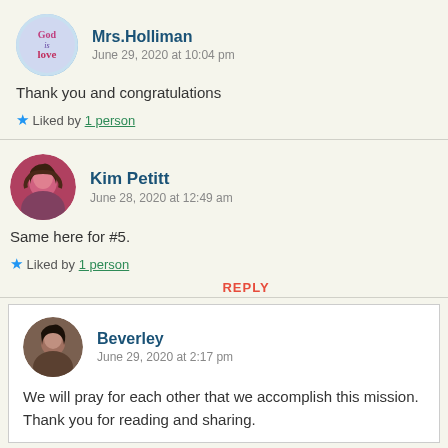Mrs.Holliman
June 29, 2020 at 10:04 pm
Thank you and congratulations
Liked by 1 person
Kim Petitt
June 28, 2020 at 12:49 am
Same here for #5.
Liked by 1 person
REPLY
Beverley
June 29, 2020 at 2:17 pm
We will pray for each other that we accomplish this mission. Thank you for reading and sharing.